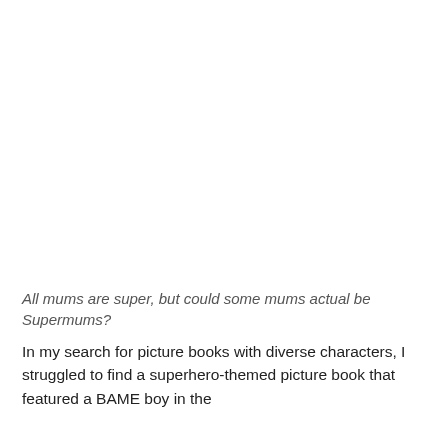All mums are super, but could some mums actual be Supermums?
In my search for picture books with diverse characters, I struggled to find a superhero-themed picture book that featured a BAME boy in the